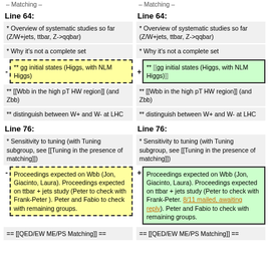– Matching –
– Matching –
Line 64:
Line 64:
* Overview of systematic studies so far (Z/W+jets, ttbar, Z->qqbar)
* Overview of systematic studies so far (Z/W+jets, ttbar, Z->qqbar)
* Why it's not a complete set
* Why it's not a complete set
** gg initial states (Higgs, with NLM Higgs)
** gg initial states (Higgs, with NLM Higgs)
** [[Wbb in the high pT HW region]] (and Zbb)
** [[Wbb in the high pT HW region]] (and Zbb)
** distinguish between W+ and W- at LHC
** distinguish between W+ and W- at LHC
Line 76:
Line 76:
* Sensitivity to tuning (with Tuning subgroup, see [[Tuning in the presence of matching]])
* Sensitivity to tuning (with Tuning subgroup, see [[Tuning in the presence of matching]])
Proceedings expected on Wbb (Jon, Giacinto, Laura). Proceedings expected on ttbar + jets study (Peter to check with Frank-Peter ). Peter and Fabio to check with remaining groups.
Proceedings expected on Wbb (Jon, Giacinto, Laura). Proceedings expected on ttbar + jets study (Peter to check with Frank-Peter. 8/11 mailed, awaiting reply). Peter and Fabio to check with remaining groups.
== [[QED/EW ME/PS Matching]] ==
== [[QED/EW ME/PS Matching]] ==